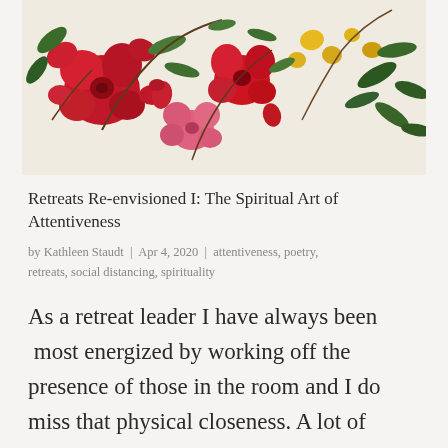[Figure (photo): A floral botanical illustration showing red, pink, and yellow flowers with green leaves on a light background.]
Retreats Re-envisioned I: The Spiritual Art of Attentiveness
by Kathleen Staudt | Apr 4, 2020 | attentiveness, poetry, retreats, social distancing, spirituality
As a retreat leader I have always been most energized by working off the presence of those in the room and I do miss that physical closeness. A lot of retreat work I had scheduled for this spring has been cancelled or in a few cases has gone on line,